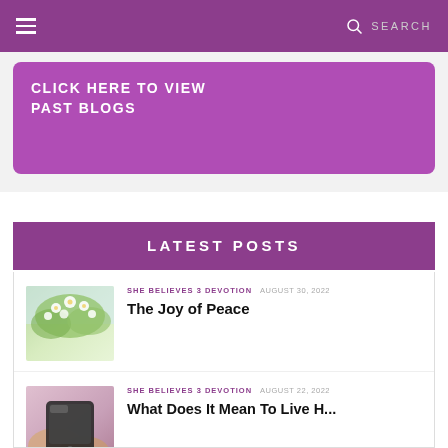≡   SEARCH
CLICK HERE TO VIEW PAST BLOGS
LATEST POSTS
SHE BELIEVES 3 DEVOTION   AUGUST 30, 2022
The Joy of Peace
[Figure (photo): Flowering tree branches with white blossoms and green leaves against a light sky]
SHE BELIEVES 3 DEVOTION   AUGUST 22, 2022
What Does It Mean To Live H...
[Figure (photo): Hands holding a smartphone, close-up view]